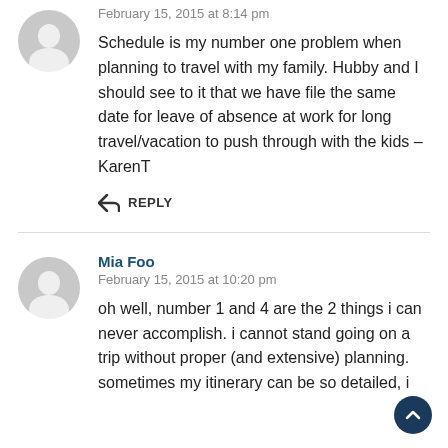February 15, 2015 at 8:14 pm
Schedule is my number one problem when planning to travel with my family. Hubby and I should see to it that we have file the same date for leave of absence at work for long travel/vacation to push through with the kids – KarenT
REPLY
Mia Foo
February 15, 2015 at 10:20 pm
oh well, number 1 and 4 are the 2 things i can never accomplish. i cannot stand going on a trip without proper (and extensive) planning. sometimes my itinerary can be so detailed, i